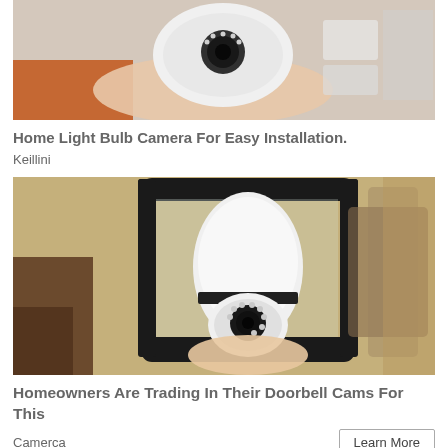[Figure (photo): Hand holding a small white security camera, partially cropped at top]
Home Light Bulb Camera For Easy Installation.
Keillini
[Figure (photo): Person installing a white light bulb camera into an outdoor wall lantern fixture against a textured wall]
Homeowners Are Trading In Their Doorbell Cams For This
Camerca
Learn More
[Figure (photo): Partial bottom image, cropped — appears to be another security camera product]